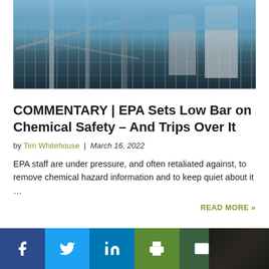[Figure (photo): Industrial chemical plant with pipes, metal scaffolding, and large cylindrical tanks against a blue sky background.]
COMMENTARY | EPA Sets Low Bar on Chemical Safety – And Trips Over It
by Tim Whitehouse | March 16, 2022
EPA staff are under pressure, and often retaliated against, to remove chemical hazard information and to keep quiet about it …
READ MORE »